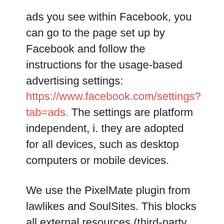ads you see within Facebook, you can go to the page set up by Facebook and follow the instructions for the usage-based advertising settings: https://www.facebook.com/settings?tab=ads. The settings are platform independent, i. they are adopted for all devices, such as desktop computers or mobile devices.
We use the PixelMate plugin from lawlikes and SoulSites. This blocks all external resources (third-party functions) until the user agrees to the tracking and use of cookies. The legal basis for this processing of data is Art. 6 para. 1 lit. a GDPR.
YouTube
Our website uses YouTube features. When you